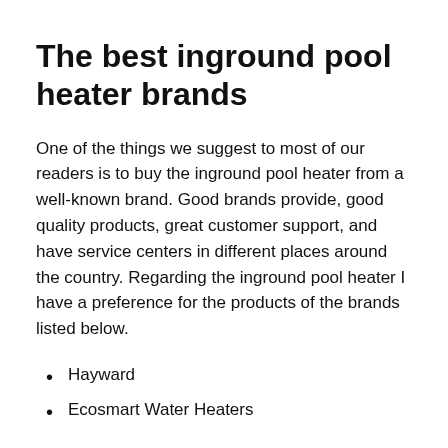The best inground pool heater brands
One of the things we suggest to most of our readers is to buy the inground pool heater from a well-known brand. Good brands provide, good quality products, great customer support, and have service centers in different places around the country. Regarding the inground pool heater I have a preference for the products of the brands listed below.
Hayward
Ecosmart Water Heaters